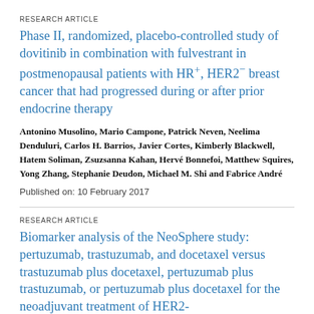RESEARCH ARTICLE
Phase II, randomized, placebo-controlled study of dovitinib in combination with fulvestrant in postmenopausal patients with HR+, HER2− breast cancer that had progressed during or after prior endocrine therapy
Antonino Musolino, Mario Campone, Patrick Neven, Neelima Denduluri, Carlos H. Barrios, Javier Cortes, Kimberly Blackwell, Hatem Soliman, Zsuzsanna Kahan, Hervé Bonnefoi, Matthew Squires, Yong Zhang, Stephanie Deudon, Michael M. Shi and Fabrice André
Published on: 10 February 2017
RESEARCH ARTICLE
Biomarker analysis of the NeoSphere study: pertuzumab, trastuzumab, and docetaxel versus trastuzumab plus docetaxel, pertuzumab plus trastuzumab, or pertuzumab plus docetaxel for the neoadjuvant treatment of HER2-